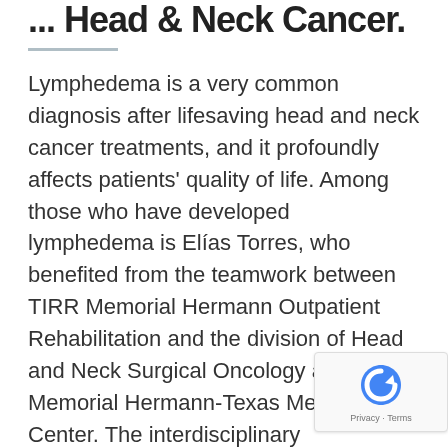... Head and Neck Cancer
Lymphedema is a very common diagnosis after lifesaving head and neck cancer treatments, and it profoundly affects patients' quality of life. Among those who have developed lymphedema is Elías Torres, who benefited from the teamwork between TIRR Memorial Hermann Outpatient Rehabilitation and the division of Head and Neck Surgical Oncology at Memorial Hermann-Texas Medical Center. The interdisciplinary collaboration brings together surgical oncologists and rehabilitation professionals focused on improving life fo survivors before, during and after cancer treatment.